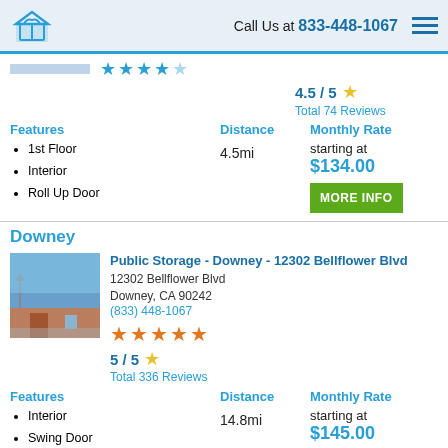Call Us at 833-448-1067
4.5 / 5 — Total 74 Reviews
Features: 1st Floor, Interior, Roll Up Door | Distance: 4.5mi | Monthly Rate: starting at $134.00
Downey
Public Storage - Downey - 12302 Bellflower Blvd
12302 Bellflower Blvd
Downey, CA 90242
(833) 448-1067
5 / 5 — Total 336 Reviews
Features: Interior, Swing Door | Distance: 14.8mi | Monthly Rate: starting at $145.00